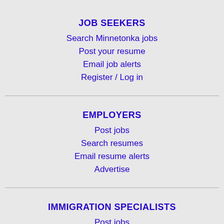JOB SEEKERS
Search Minnetonka jobs
Post your resume
Email job alerts
Register / Log in
EMPLOYERS
Post jobs
Search resumes
Email resume alerts
Advertise
IMMIGRATION SPECIALISTS
Post jobs